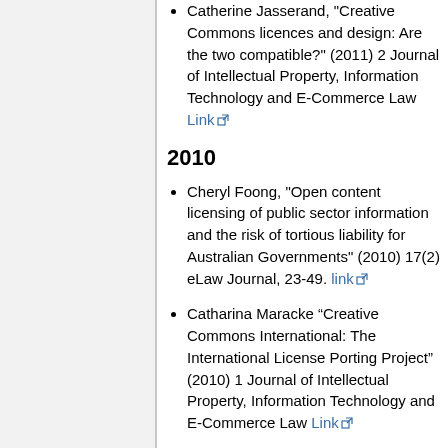Catherine Jasserand, "Creative Commons licences and design: Are the two compatible?" (2011) 2 Journal of Intellectual Property, Information Technology and E-Commerce Law Link
2010
Cheryl Foong, "Open content licensing of public sector information and the risk of tortious liability for Australian Governments" (2010) 17(2) eLaw Journal, 23-49. link
Catharina Maracke “Creative Commons International: The International License Porting Project” (2010) 1 Journal of Intellectual Property, Information Technology and E-Commerce Law Link
Juan Sebastián Sereno Restrepo,